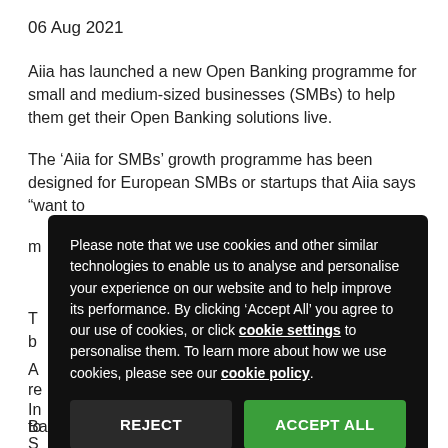06 Aug 2021
Aiia has launched a new Open Banking programme for small and medium-sized businesses (SMBs) to help them get their Open Banking solutions live.
The ‘Aiia for SMBs’ growth programme has been designed for European SMBs or startups that Aiia says “want to m…
Please note that we use cookies and other similar technologies to enable us to analyse and personalise your experience on our website and to help improve its performance. By clicking ‘Accept All’ you agree to our use of cookies, or click cookie settings to personalise them. To learn more about how we use cookies, please see our cookie policy.
Banking journeys.